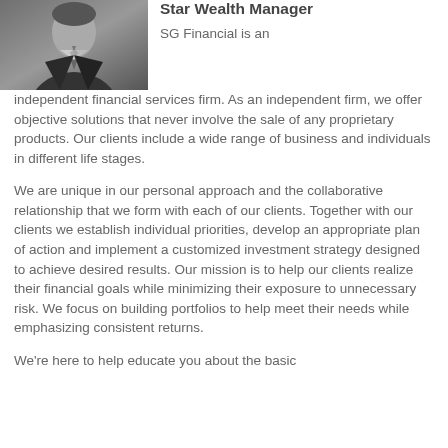[Figure (photo): Black and white photo of a man in a suit and tie]
Star Wealth Manager
SG Financial is an independent financial services firm.  As an independent firm, we offer objective solutions that never involve the sale of any proprietary products.  Our clients include a wide range of business and individuals in different life stages.
We are unique in our personal approach and the collaborative relationship that we form with each of our clients.  Together with our clients we establish individual priorities, develop an appropriate plan of action and implement a customized investment strategy designed to achieve desired results.  Our mission is to help our clients realize their financial goals while minimizing their exposure to unnecessary risk.  We focus on building portfolios to help meet their needs while emphasizing consistent returns.
We're here to help educate you about the basic